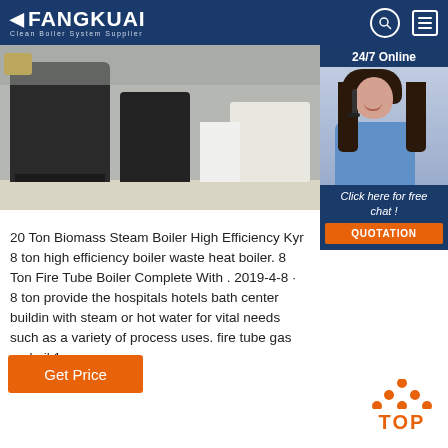FANGKUAI Clean Boiler System Supplier
[Figure (photo): Industrial boiler room interior with large dark boiler units on a light floor, yellow equipment visible]
[Figure (photo): 24/7 Online customer service representative wearing headset, smiling, with Click here for free chat and QUOTATION button overlay]
20 Ton Biomass Steam Boiler High Efficiency Kyr 8 ton high efficiency boiler waste heat boiler. 8 Ton Fire Tube Boiler Complete With . 2019-4-8 · 8 ton provide the hospitals hotels bath center buildin with steam or hot water for vital needs such as a variety of process uses. fire tube gas and oil 1
Get Price
[Figure (infographic): Orange TOP button with dot triangle icon above the text TOP]